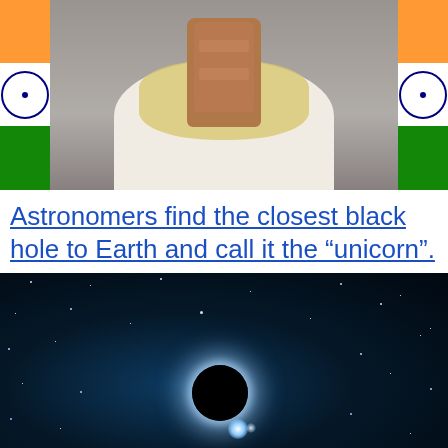[Figure (photo): A person in white garments with hands pressed together in a namaste gesture, with Indian flags visible on both sides showing saffron, white, and green colors with Ashoka chakra.]
Astronomers find the closest black hole to Earth and call it the “unicorn”.
[Figure (photo): An illustration of a black hole in space showing a dark circular void surrounded by a glowing ring of light, set against a dark starfield with a blue nebula glow.]